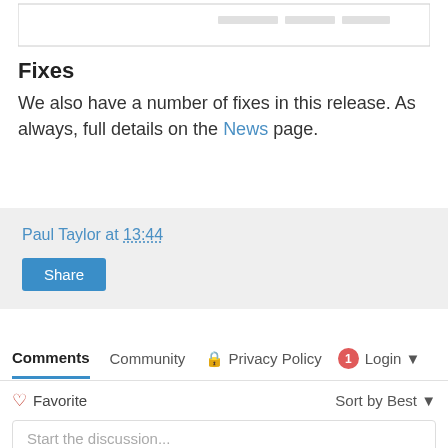[Figure (screenshot): Partial screenshot of a UI element at the top of the page]
Fixes
We also have a number of fixes in this release. As always, full details on the News page.
Paul Taylor at 13:44 — Share button
Comments  Community  Privacy Policy  1  Login — Favorite — Sort by Best — Start the discussion...